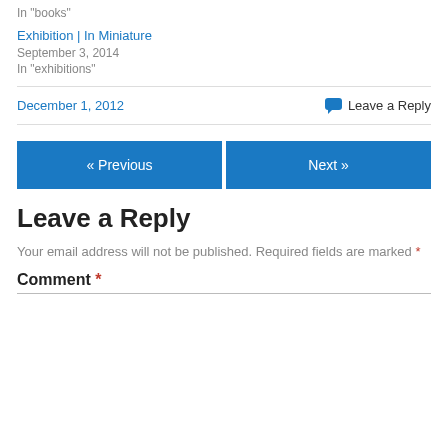In "books"
Exhibition | In Miniature
September 3, 2014
In "exhibitions"
December 1, 2012
Leave a Reply
« Previous
Next »
Leave a Reply
Your email address will not be published. Required fields are marked *
Comment *